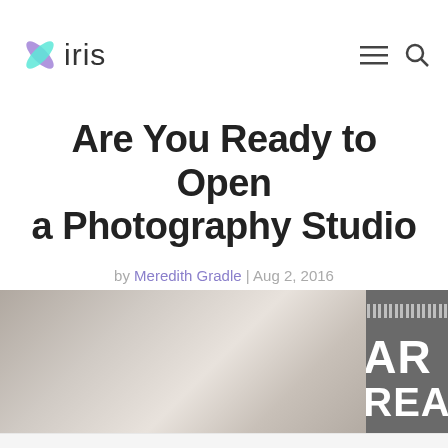iris
Are You Ready to Open a Photography Studio
by Meredith Gradle | Aug 2, 2016
[Figure (photo): Photography studio background image with grey gradient on left side, and dark grey overlay with text 'AR REA' on the right side with dot pattern]